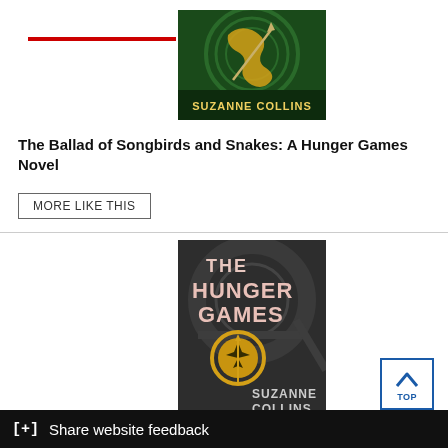[Figure (illustration): Book cover of 'The Ballad of Songbirds and Snakes' by Suzanne Collins — dark green background with gold snake design]
The Ballad of Songbirds and Snakes: A Hunger Games Novel
MORE LIKE THIS
[Figure (illustration): Book cover of 'The Hunger Games' by Suzanne Collins — dark grey background with gold mockingjay pin emblem]
[Figure (other): Top of page navigation button with upward arrow and text TOP]
[+] Share website feedback